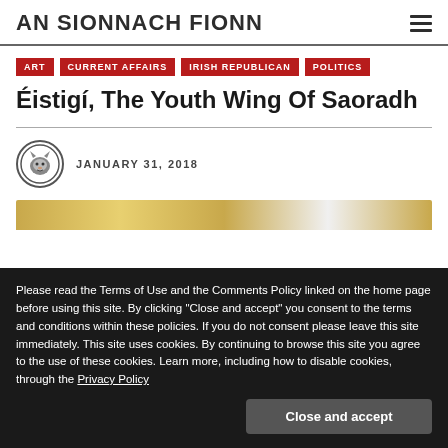AN SIONNACH FIONN
ART
CURRENT AFFAIRS
IRISH REPUBLICAN
POLITICS
Éistigí, The Youth Wing Of Saoradh
JANUARY 31, 2018
[Figure (photo): Partial view of a room with gold/wood tones, partially obscured by cookie notice overlay]
Please read the Terms of Use and the Comments Policy linked on the home page before using this site. By clicking "Close and accept" you consent to the terms and conditions within these policies. If you do not consent please leave this site immediately. This site uses cookies. By continuing to browse this site you agree to the use of these cookies. Learn more, including how to disable cookies, through the Privacy Policy